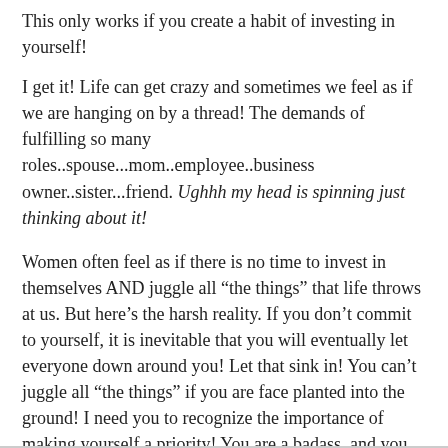This only works if you create a habit of investing in yourself!
I get it! Life can get crazy and sometimes we feel as if we are hanging on by a thread! The demands of fulfilling so many roles..spouse...mom..employee..business owner..sister...friend. Ughhh my head is spinning just thinking about it!
Women often feel as if there is no time to invest in themselves AND juggle all “the things” that life throws at us. But here’s the harsh reality. If you don’t commit to yourself, it is inevitable that you will eventually let everyone down around you! Let that sink in! You can’t juggle all “the things” if you are face planted into the ground! I need you to recognize the importance of making yourself a priority! You are a badass, and you were built for success, but you MUST check yourself and be honest with how much you are pouring into your own cup! Daily routines mama! Put investing in yourself on that do-list today!